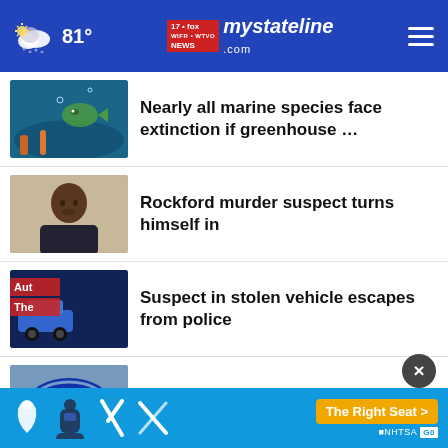81° | mystateline NEWS .com
Nearly all marine species face extinction if greenhouse …
Rockford murder suspect turns himself in
Suspect in stolen vehicle escapes from police
Ford cutting 3,000 jobs worldwide
Teen charged in Freemont Street shooting
[Figure (screenshot): Advertisement banner: NHTSA car seat safety ad with icons and 'The Right Seat >' button]